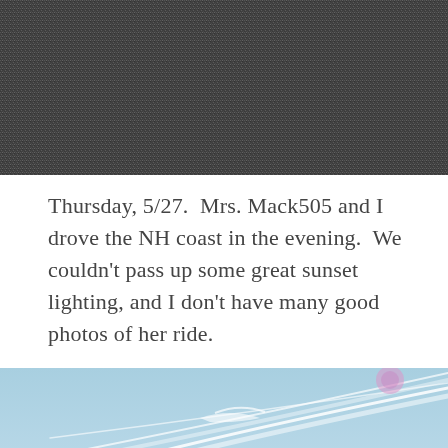[Figure (photo): Top portion of a dark, grainy photograph — appears to show a dark road or asphalt surface with a noisy/grainy texture, cropped at the top of the page.]
Thursday, 5/27.  Mrs. Mack505 and I drove the NH coast in the evening.  We couldn't pass up some great sunset lighting, and I don't have many good photos of her ride.
[Figure (photo): A photograph showing a blue sky with wispy white cloud streaks (contrails) running diagonally across the frame. In the upper right corner there is a pink/purple circular lens flare. At the bottom of the image, dark green treetops of a hillside are visible.]